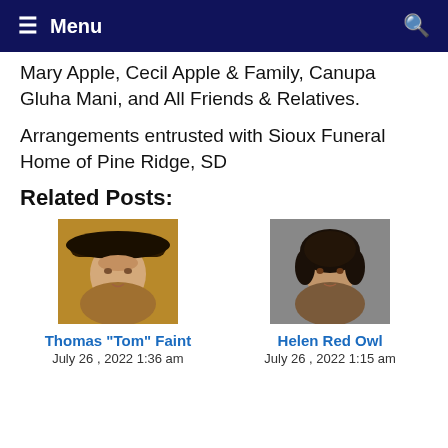≡ Menu
Mary Apple, Cecil Apple & Family, Canupa Gluha Mani, and All Friends & Relatives.
Arrangements entrusted with Sioux Funeral Home of Pine Ridge, SD
Related Posts:
[Figure (photo): Portrait photo of Thomas "Tom" Faint, a man wearing a dark cowboy hat]
[Figure (photo): Portrait photo of Helen Red Owl, a woman with dark curly hair]
Thomas "Tom" Faint
July 26 , 2022 1:36 am
Helen Red Owl
July 26 , 2022 1:15 am